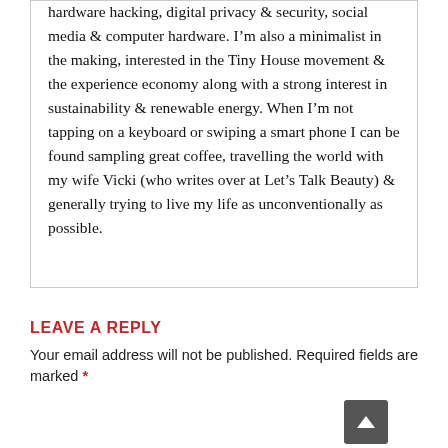hardware hacking, digital privacy & security, social media & computer hardware. I'm also a minimalist in the making, interested in the Tiny House movement & the experience economy along with a strong interest in sustainability & renewable energy. When I'm not tapping on a keyboard or swiping a smart phone I can be found sampling great coffee, travelling the world with my wife Vicki (who writes over at Let's Talk Beauty) & generally trying to live my life as unconventionally as possible.
LEAVE A REPLY
Your email address will not be published. Required fields are marked *